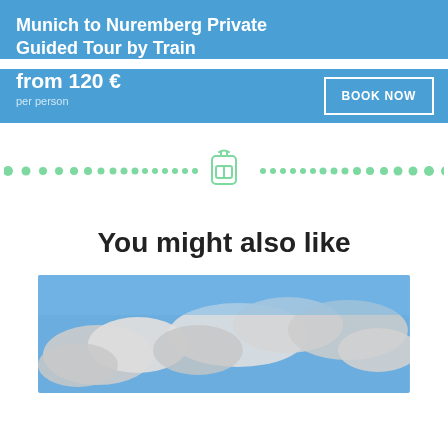Munich to Nuremberg Private Guided Tour by Train
from 120 €
per person
BOOK NOW
[Figure (infographic): Decorative divider with green dots and a backpack icon in the center]
You might also like
[Figure (photo): Photo of blue sky with white clouds, partially visible at bottom of page]